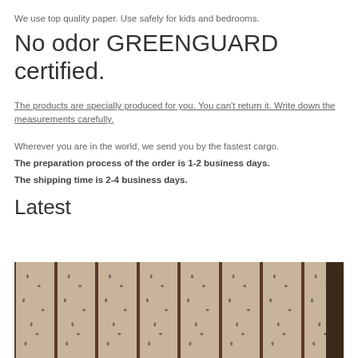We use top quality paper. Use safely for kids and bedrooms.
No odor GREENGUARD certified.
The products are specially produced for you. You can't return it. Write down the measurements carefully.
Wherever you are in the world, we send you by the fastest cargo.
The preparation process of the order is 1-2 business days.
The shipping time is 2-4 business days.
Latest
[Figure (photo): Vertical panel blinds with a leaf/botanical pattern in tan and dark brown tones, installed on a wall with light-colored walls on either side.]